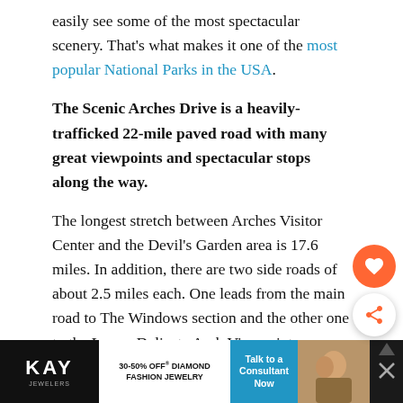easily see some of the most spectacular scenery. That's what makes it one of the most popular National Parks in the USA.
The Scenic Arches Drive is a heavily-trafficked 22-mile paved road with many great viewpoints and spectacular stops along the way.
The longest stretch between Arches Visitor Center and the Devil's Garden area is 17.6 miles. In addition, there are two side roads of about 2.5 miles each. One leads from the main road to The Windows section and the other one to the Lower Delicate Arch Viewpoint.
[Figure (other): Advertisement banner for Kay Jewelers: 30-50% OFF Diamond Fashion Jewelry with Talk to a Consultant Now CTA button, photo of couple, and close/share controls]